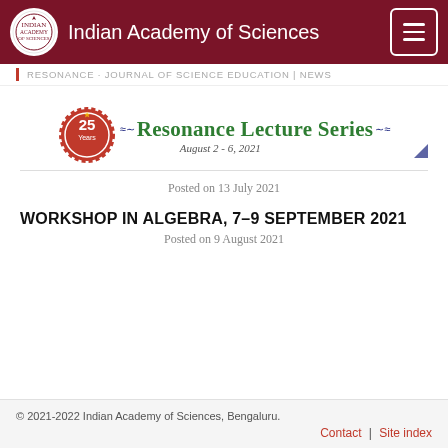Indian Academy of Sciences
RESONANCE · JOURNAL OF SCIENCE EDUCATION | NEWS
[Figure (logo): Resonance Lecture Series banner with 25 Years badge, waveform lines, and green serif text reading 'Resonance Lecture Series' with date 'August 2 - 6, 2021']
Posted on 13 July 2021
WORKSHOP IN ALGEBRA, 7–9 SEPTEMBER 2021
Posted on 9 August 2021
© 2021-2022 Indian Academy of Sciences, Bengaluru.
Contact | Site index